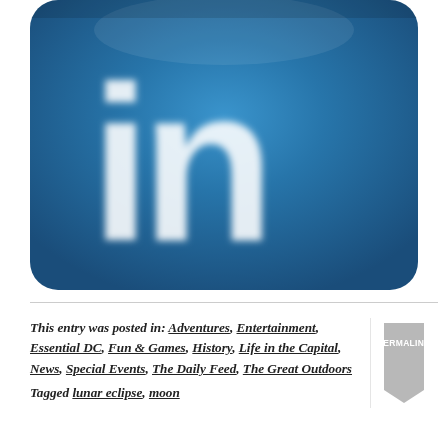[Figure (logo): LinkedIn logo — blue rounded-rectangle icon with white 'in' lettering, blurred/soft rendering]
This entry was posted in: Adventures, Entertainment, Essential DC, Fun & Games, History, Life in the Capital, News, Special Events, The Daily Feed, The Great Outdoors
Tagged lunar eclipse, moon
[Figure (other): Permalink ribbon bookmark icon in grey]